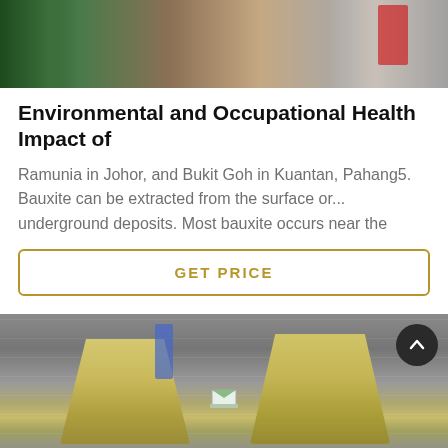[Figure (photo): Top image showing industrial/mining site with green vegetation on the left, reddish-brown earth/brick structures in the middle, and industrial equipment partially visible on the right]
Environmental and Occupational Health Impact of
Ramunia in Johor, and Bukit Goh in Kuantan, Pahang5. Bauxite can be extracted from the surface or... underground deposits. Most bauxite occurs near the
GET PRICE
[Figure (photo): Bottom image showing industrial cone crushers in yellowish/beige color inside a large industrial warehouse/factory building. A scroll-to-top button is visible in the top right corner.]
Online
Get Quotation
Online Chat